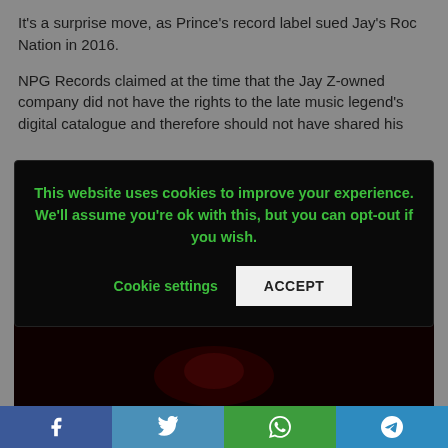It's a surprise move, as Prince's record label sued Jay's Roc Nation in 2016.
NPG Records claimed at the time that the Jay Z-owned company did not have the rights to the late music legend's digital catalogue and therefore should not have shared his exclusive rights to the work.
[Figure (infographic): Cookie consent banner overlay with dark background. Text reads: 'This website uses cookies to improve your experience. We'll assume you're ok with this, but you can opt-out if you wish.' with 'Cookie settings' and 'ACCEPT' buttons.]
[Figure (photo): Dark, nearly black photo at the bottom of the article, showing minimal reddish detail.]
[Figure (infographic): Social media share bar at the bottom with Facebook (blue), Twitter (blue), WhatsApp (green), and Telegram (teal) buttons.]